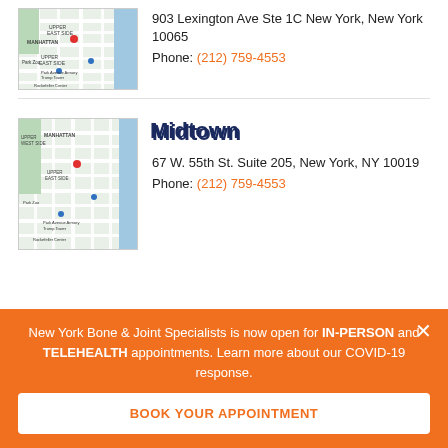[Figure (map): Google Maps thumbnail showing Upper East Side Manhattan area around 903 Lexington Ave]
903 Lexington Ave Ste 1C New York, New York 10065
Phone: (212) 759-4553
[Figure (map): Google Maps thumbnail showing Midtown Manhattan area around 67 W. 55th St]
Midtown
67 W. 55th St. Suite 205, New York, NY 10019
Phone: (212) 759-4553
New York Bone & Joint Specialists is now open for IN-PERSON and TELEHEALTH appointments. Learn more about our COVID-19 response.
BOOK YOUR APPOINTMENT